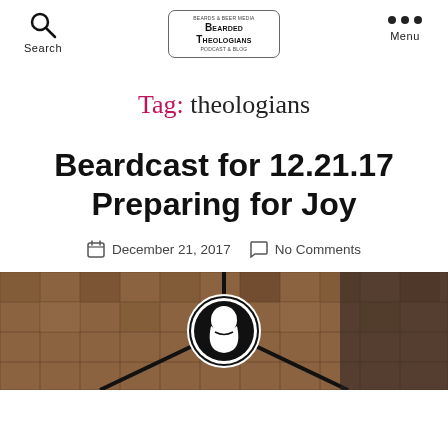Search | Bearded Theologians | Menu
Tag: theologians
Beardcast for 12.21.17 Preparing for Joy
December 21, 2017   No Comments
[Figure (photo): Photo of a tiled floor with a black and white bearded face logo/icon centered over it, with a person at a laptop in the background on the right.]